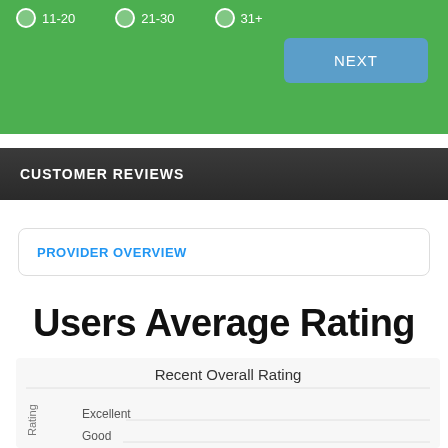[Figure (screenshot): Green bar with age range radio options (11-20, 21-30, 31+) and a NEXT button]
CUSTOMER REVIEWS
PROVIDER OVERVIEW
Users Average Rating
[Figure (continuous-plot): Chart area showing Recent Overall Rating with y-axis labels: Excellent, Good, Rating]